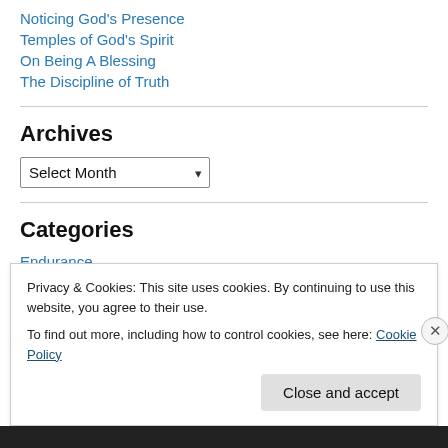Noticing God's Presence
Temples of God's Spirit
On Being A Blessing
The Discipline of Truth
Archives
Categories
Endurance
Privacy & Cookies: This site uses cookies. By continuing to use this website, you agree to their use.
To find out more, including how to control cookies, see here: Cookie Policy